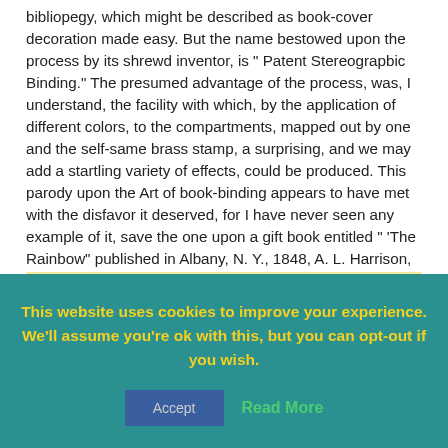bibliopegy, which might be described as book-cover decoration made easy. But the name bestowed upon the process by its shrewd inventor, is " Patent Stereograpbic Binding." The presumed advantage of the process, was, I understand, the facility with which, by the application of different colors, to the compartments, mapped out by one and the self-same brass stamp, a surprising, and we may add a startling variety of effects, could be produced. This parody upon the Art of book-binding appears to have met with the disfavor it deserved, for I have never seen any example of it, save the one upon a gift book entitled " 'The Rainbow" published in Albany, N. Y., 1848, A. L. Harrison, Binder.
[Figure (photo): Photograph of a decorative book cover, brown/reddish color with ornate gold border patterns, set against a light yellow background.]
This website uses cookies to improve your experience. We'll assume you're ok with this, but you can opt-out if you wish.